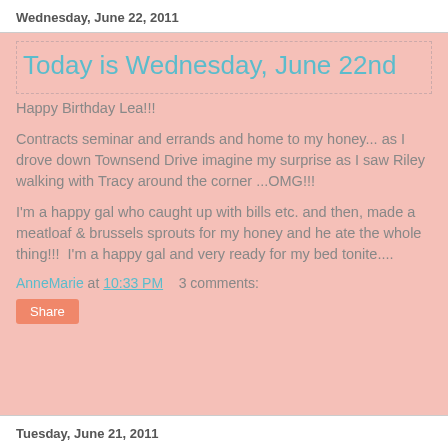Wednesday, June 22, 2011
Today is Wednesday, June 22nd
Happy Birthday Lea!!!
Contracts seminar and errands and home to my honey... as I drove down Townsend Drive imagine my surprise as I saw Riley walking with Tracy around the corner ...OMG!!!
I'm a happy gal who caught up with bills etc. and then, made a meatloaf & brussels sprouts for my honey and he ate the whole thing!!!  I'm a happy gal and very ready for my bed tonite....
AnneMarie at 10:33 PM    3 comments:
Share
Tuesday, June 21, 2011